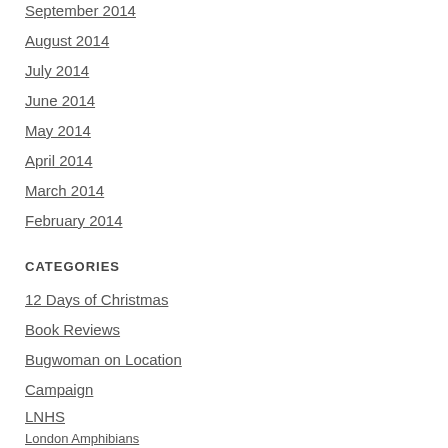September 2014
August 2014
July 2014
June 2014
May 2014
April 2014
March 2014
February 2014
CATEGORIES
12 Days of Christmas
Book Reviews
Bugwoman on Location
Campaign
LNHS
London Amphibians
London Birds